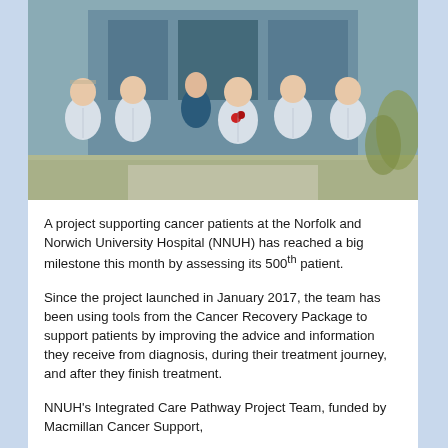[Figure (photo): Group photo of six nurses/healthcare professionals in light blue uniforms standing outside a hospital building. One person in the back wears darker clothing. They are standing in a row smiling at the camera.]
A project supporting cancer patients at the Norfolk and Norwich University Hospital (NNUH) has reached a big milestone this month by assessing its 500th patient.
Since the project launched in January 2017, the team has been using tools from the Cancer Recovery Package to support patients by improving the advice and information they receive from diagnosis, during their treatment journey, and after they finish treatment.
NNUH's Integrated Care Pathway Project Team, funded by Macmillan Cancer Support,